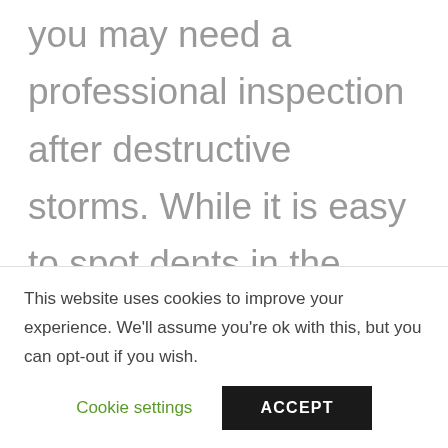you may need a professional inspection after destructive storms. While it is easy to spot dents in the glass, it can be difficult to see problems with second-story or third-story window frames from outside.
This website uses cookies to improve your experience. We'll assume you're ok with this, but you can opt-out if you wish.